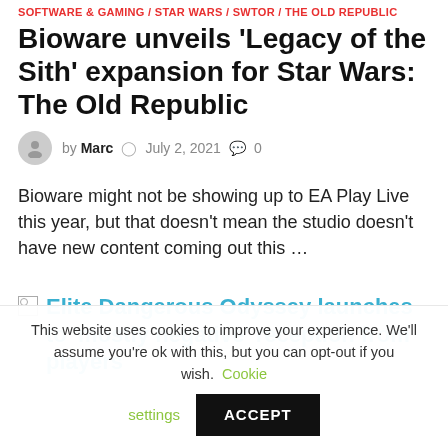SOFTWARE & GAMING / STAR WARS / SWTOR / THE OLD REPUBLIC
Bioware unveils 'Legacy of the Sith' expansion for Star Wars: The Old Republic
by Marc   July 2, 2021   0
Bioware might not be showing up to EA Play Live this year, but that doesn't mean the studio doesn't have new content coming out this …
Elite Dangerous Odyssey launches to 'mostly negative' reception from players
This website uses cookies to improve your experience. We'll assume you're ok with this, but you can opt-out if you wish. Cookie settings ACCEPT